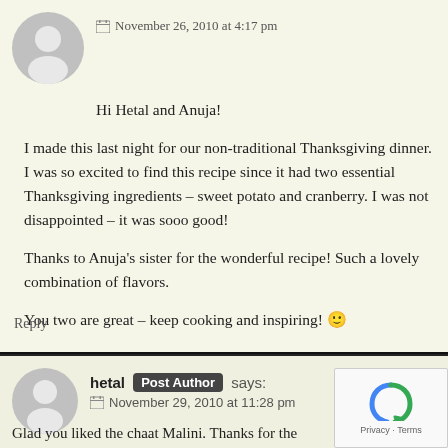November 26, 2010 at 4:17 pm
Hi Hetal and Anuja!
I made this last night for our non-traditional Thanksgiving dinner. I was so excited to find this recipe since it had two essential Thanksgiving ingredients – sweet potato and cranberry. I was not disappointed – it was sooo good!
Thanks to Anuja's sister for the wonderful recipe! Such a lovely combination of flavors.
You two are great – keep cooking and inspiring! 🙂
Reply
hetal Post Author says:
November 29, 2010 at 11:28 pm
Glad you liked the chaat Malini. Thanks for the